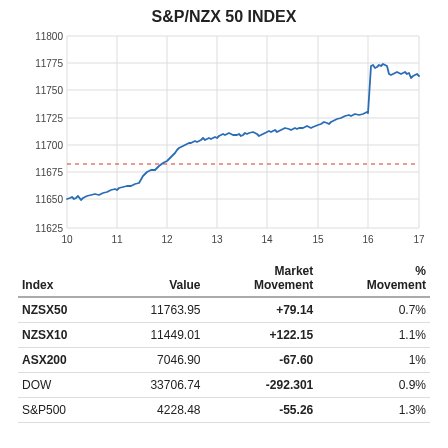S&P/NZX 50 INDEX
[Figure (continuous-plot): Line chart of S&P/NZX 50 Index intraday from hour 10 to 17, showing an upward trend from approximately 11650 to 11763, with a red dashed horizontal reference line at approximately 11683.]
| Index | Value | Market Movement | % Movement |
| --- | --- | --- | --- |
| NZSX50 | 11763.95 | +79.14 | 0.7% |
| NZSX10 | 11449.01 | +122.15 | 1.1% |
| ASX200 | 7046.90 | -67.60 | 1% |
| DOW | 33706.74 | -292.301 | 0.9% |
| S&P500 | 4228.48 | -55.26 | 1.3% |